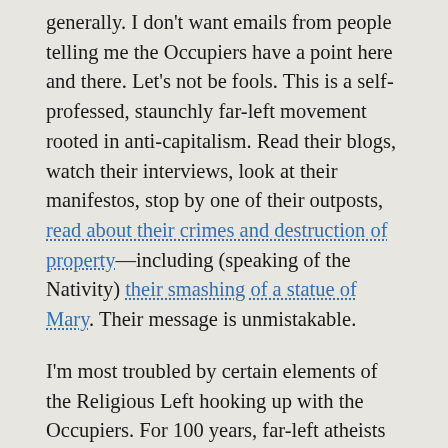generally. I don't want emails from people telling me the Occupiers have a point here and there. Let's not be fools. This is a self-professed, staunchly far-left movement rooted in anti-capitalism. Read their blogs, watch their interviews, look at their manifestos, stop by one of their outposts, read about their crimes and destruction of property—including (speaking of the Nativity) their smashing of a statue of Mary. Their message is unmistakable.

I'm most troubled by certain elements of the Religious Left hooking up with the Occupiers. For 100 years, far-left atheists who despise religion, who have relentlessly mocked and persecuted Christians and people of all faiths, have successfully recruited the Religious Left to their rallies under the rubric of economic and social justice—like sheep led to the slaughter. Believe me, I research it. I write books